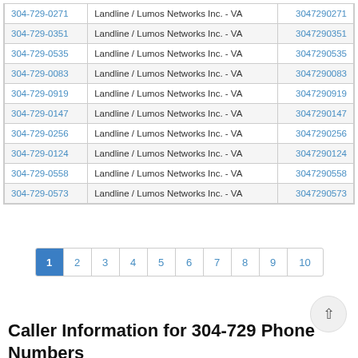| Phone Number | Type / Carrier | Digits |
| --- | --- | --- |
| 304-729-0271 | Landline / Lumos Networks Inc. - VA | 3047290271 |
| 304-729-0351 | Landline / Lumos Networks Inc. - VA | 3047290351 |
| 304-729-0535 | Landline / Lumos Networks Inc. - VA | 3047290535 |
| 304-729-0083 | Landline / Lumos Networks Inc. - VA | 3047290083 |
| 304-729-0919 | Landline / Lumos Networks Inc. - VA | 3047290919 |
| 304-729-0147 | Landline / Lumos Networks Inc. - VA | 3047290147 |
| 304-729-0256 | Landline / Lumos Networks Inc. - VA | 3047290256 |
| 304-729-0124 | Landline / Lumos Networks Inc. - VA | 3047290124 |
| 304-729-0558 | Landline / Lumos Networks Inc. - VA | 3047290558 |
| 304-729-0573 | Landline / Lumos Networks Inc. - VA | 3047290573 |
1 2 3 4 5 6 7 8 9 10
Caller Information for 304-729 Phone Numbers